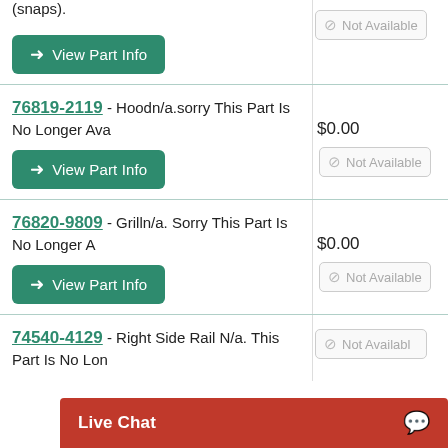(snaps).
View Part Info
Not Available
76819-2119 - Hoodn/a.sorry This Part Is No Longer Ava
$0.00
Not Available
View Part Info
76820-9809 - Grilln/a. Sorry This Part Is No Longer A
$0.00
Not Available
View Part Info
74540-4129 - Right Side Rail N/a. This Part Is No Lon
Live Chat